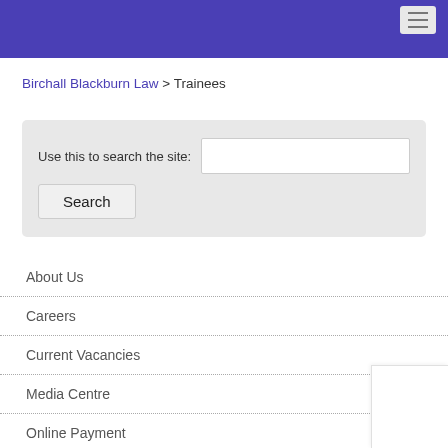[Figure (screenshot): Purple/indigo header banner with hamburger menu button]
Birchall Blackburn Law > Trainees
Use this to search the site: [search input] Search
About Us
Careers
Current Vacancies
Media Centre
Online Payment
Trainees